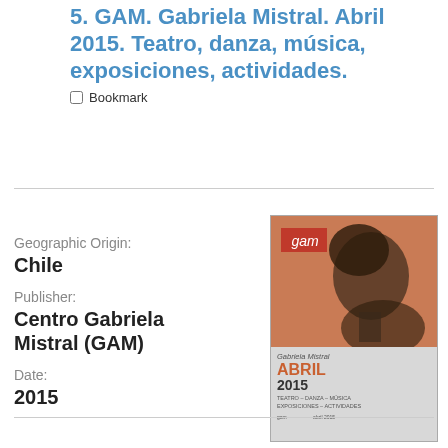5. GAM. Gabriela Mistral. Abril 2015. Teatro, danza, música, exposiciones, actividades.
Bookmark
Geographic Origin:
Chile
Publisher:
Centro Gabriela Mistral (GAM)
Date:
2015
[Figure (photo): Cover of GAM Gabriela Mistral April 2015 program booklet. Orange background with profile portrait of Gabriela Mistral, red GAM logo at top left. Bottom section in grey shows text: 'Gabriela Mistral', 'ABRIL 2015', 'TEATRO – DANZA – MÚSICA EXPOSICIONES – ACTIVIDADES']